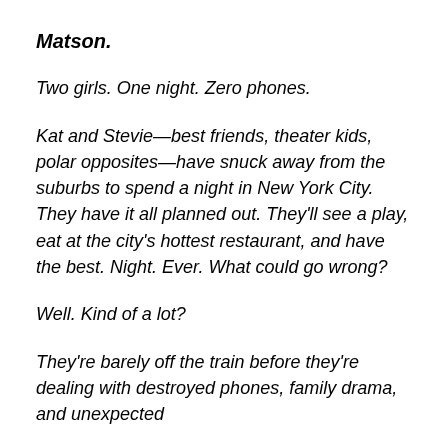Matson.
Two girls. One night. Zero phones.
Kat and Stevie—best friends, theater kids, polar opposites—have snuck away from the suburbs to spend a night in New York City. They have it all planned out. They'll see a play, eat at the city's hottest restaurant, and have the best. Night. Ever. What could go wrong?
Well. Kind of a lot?
They're barely off the train before they're dealing with destroyed phones, family drama, and unexpected